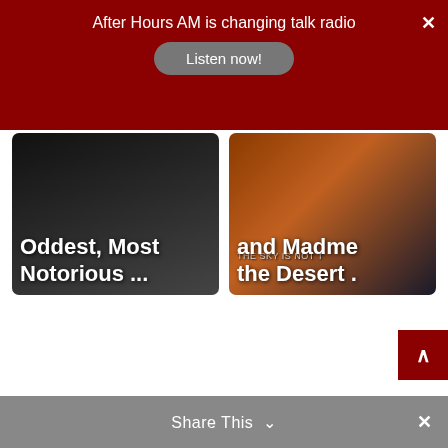After Hours AM is changing talk radio
Listen now!
[Figure (photo): Dark photo card with bold white text reading 'Oddest, Most Notorious ...']
[Figure (photo): Book/album cover card with orange-brown tones, text reading 'and Madme the Desert .' and 'THE SKY IS NOT T']
Share This